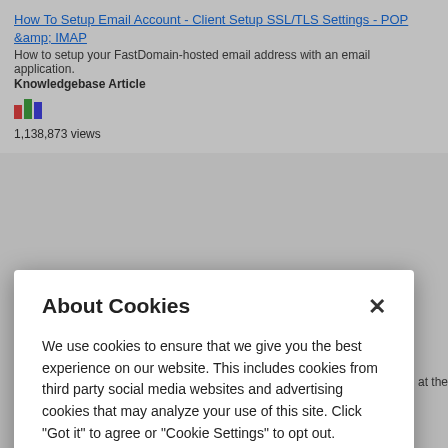How To Setup Email Account - Client Setup SSL/TLS Settings - POP &amp; IMAP
How to setup your FastDomain-hosted email address with an email application.
Knowledgebase Article
1,138,873 views
About Cookies
We use cookies to ensure that we give you the best experience on our website. This includes cookies from third party social media websites and advertising cookies that may analyze your use of this site. Click "Got it" to agree or "Cookie Settings" to opt out.
Cookie Notice
Got It
Cookies Settings
at the